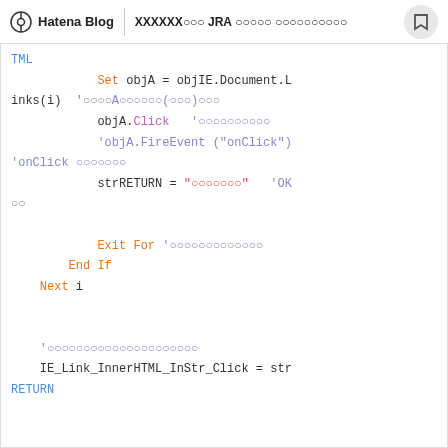Hatena Blog | XXXXXX○○○ JRA ○○○○○ ○○○○○○○○○○
[Figure (screenshot): Code block showing VBA/Visual Basic script with colored syntax highlighting. Code includes: Set objA = objIE.Document.Links(i), objA.Click, 'objA.FireEvent ("onClick"), strRETURN = "○○○○○○○", Exit For, End If, Next i, IE_Link_InnerHTML_InStr_Click = strRETURN]